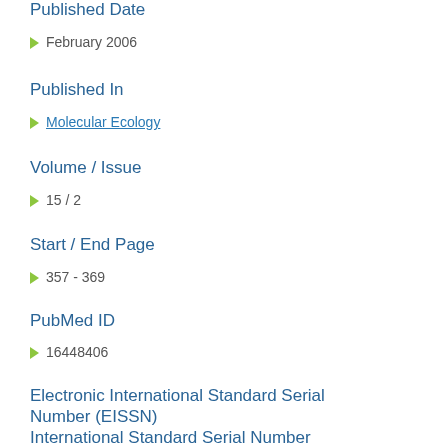Published Date
February 2006
Published In
Molecular Ecology
Volume / Issue
15 / 2
Start / End Page
357 - 369
PubMed ID
16448406
Electronic International Standard Serial Number (EISSN)
1365-294X
International Standard Serial Number